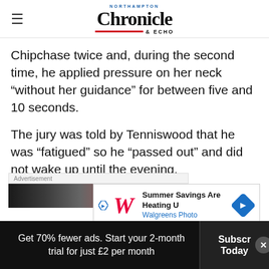Northampton Chronicle & Echo
Chipchase twice and, during the second time, he applied pressure on her neck “without her guidance” for between five and 10 seconds.
The jury was told by Tenniswood that he was “fatigued” so he “passed out” and did not wake up until the evening.
[Figure (screenshot): Advertisement banner showing Walgreens Photo Summer Savings promotion]
Get 70% fewer ads. Start your 2-month trial for just £2 per month
Subscribe Today